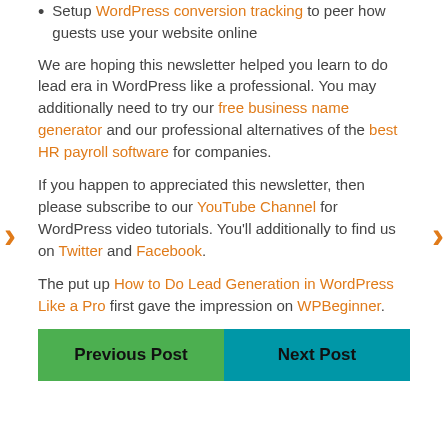Setup WordPress conversion tracking to peer how guests use your website online
We are hoping this newsletter helped you learn to do lead era in WordPress like a professional. You may additionally need to try our free business name generator and our professional alternatives of the best HR payroll software for companies.
If you happen to appreciated this newsletter, then please subscribe to our YouTube Channel for WordPress video tutorials. You'll additionally to find us on Twitter and Facebook.
The put up How to Do Lead Generation in WordPress Like a Pro first gave the impression on WPBeginner.
Previous Post
Next Post